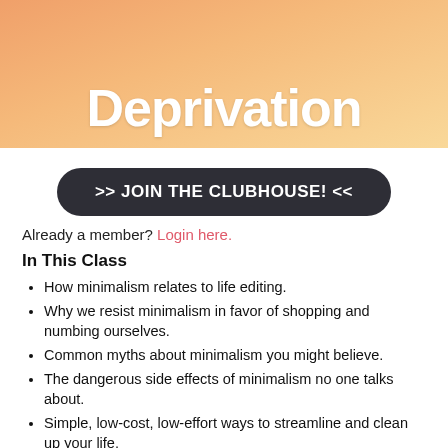[Figure (illustration): Banner with gradient orange background showing the word 'Deprivation' in large bold white text]
>> JOIN THE CLUBHOUSE! <<
Already a member? Login here.
In This Class
How minimalism relates to life editing.
Why we resist minimalism in favor of shopping and numbing ourselves.
Common myths about minimalism you might believe.
The dangerous side effects of minimalism no one talks about.
Simple, low-cost, low-effort ways to streamline and clean up your life.